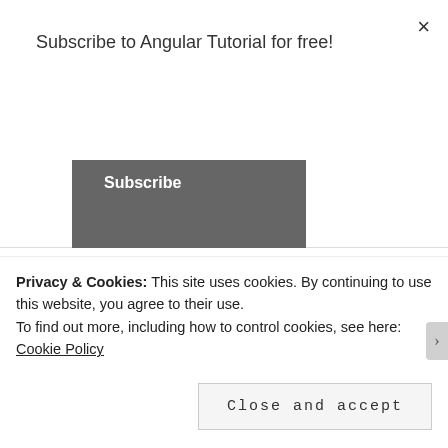Subscribe to Angular Tutorial for free!
Subscribe
↩ Reply
Pingback: Force AnyConnect to remember profiles – azurecurve
Advertisements
[Figure (screenshot): Dark ad banner showing 'Launch your online' text with teal color and a circular logo, with 'Learn More' text partially visible]
Privacy & Cookies: This site uses cookies. By continuing to use this website, you agree to their use.
To find out more, including how to control cookies, see here: Cookie Policy
Close and accept